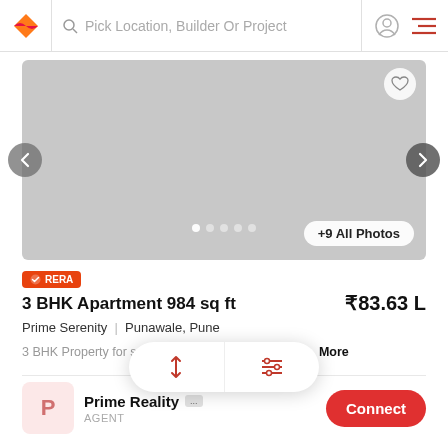[Figure (screenshot): App header with logo, search bar 'Pick Location, Builder Or Project', user icon, and menu icon]
[Figure (photo): Property image carousel with gray placeholder, heart icon, left/right navigation arrows, dot indicators, and '+9 All Photos' button]
RERA
3 BHK Apartment 984 sq ft
₹83.63 L
Prime Serenity  |  Punawale, Pune
3 BHK Property for sale in P...This spacious 3... More
[Figure (infographic): Sort and filter floating pill button with up-down arrows icon and sliders icon]
Prime Reality
AGENT
Connect